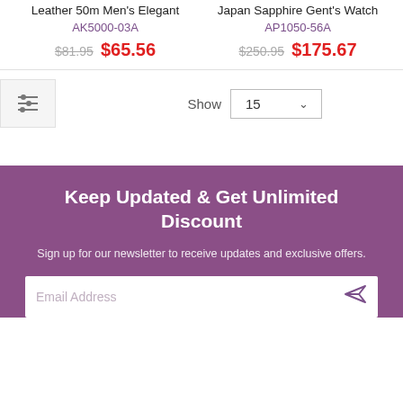Leather 50m Men's Elegant
Japan Sapphire Gent's Watch
AK5000-03A
AP1050-56A
$81.95 $65.56
$250.95 $175.67
Show 15
Keep Updated & Get Unlimited Discount
Sign up for our newsletter to receive updates and exclusive offers.
Email Address